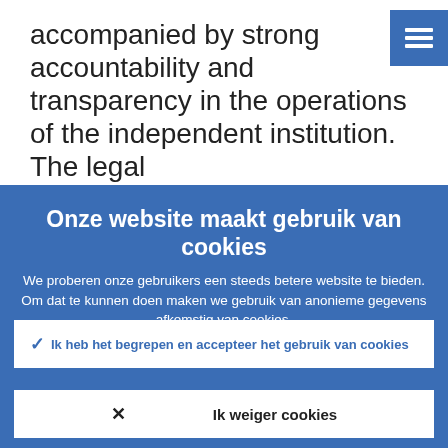accompanied by strong accountability and transparency in the operations of the independent institution. The legal
Onze website maakt gebruik van cookies
We proberen onze gebruikers een steeds betere website te bieden. Om dat te kunnen doen maken we gebruik van anonieme gegevens afkomstig van cookies.
▸ Nadere informatie over ons gebruik van cookies
✓ Ik heb het begrepen en accepteer het gebruik van cookies
✕ Ik weiger cookies